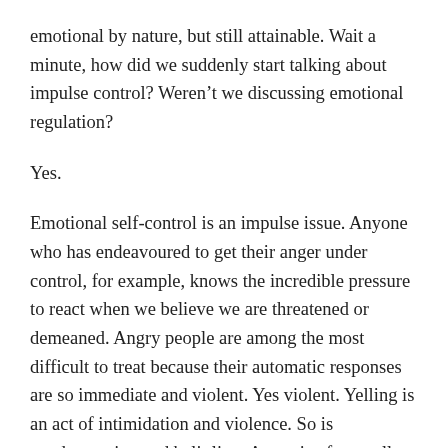emotional by nature, but still attainable. Wait a minute, how did we suddenly start talking about impulse control? Weren't we discussing emotional regulation?
Yes.
Emotional self-control is an impulse issue. Anyone who has endeavoured to get their anger under control, for example, knows the incredible pressure to react when we believe we are threatened or demeaned. Angry people are among the most difficult to treat because their automatic responses are so immediate and violent. Yes violent. Yelling is an act of intimidation and violence. So is condescension and belittling. Anger is often really about control, about bullying. Angry people usually have no idea how violent they really do appear. Learning emotional self-regulation in this instance is not only necessary, it is transformational. If you struggle